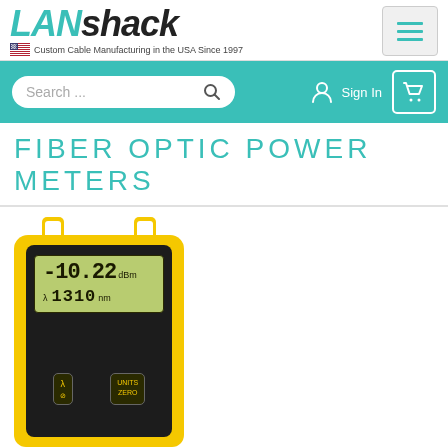LANshack - Custom Cable Manufacturing in the USA Since 1997
FIBER OPTIC POWER METERS
[Figure (photo): A yellow and black handheld fiber optic power meter device showing a digital LCD display reading -10.22 dBm at 1310 nm wavelength, with two buttons labeled lambda/zero and UNITS/ZERO at the bottom.]